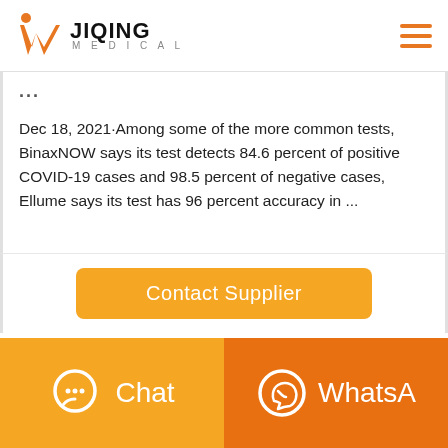[Figure (logo): Jiqing Medical logo with orange W icon and text JIQING MEDICAL]
...
Dec 18, 2021·Among some of the more common tests, BinaxNOW says its test detects 84.6 percent of positive COVID-19 cases and 98.5 percent of negative cases, Ellume says its test has 96 percent accuracy in ...
Contact Supplier
Chat
WhatsA